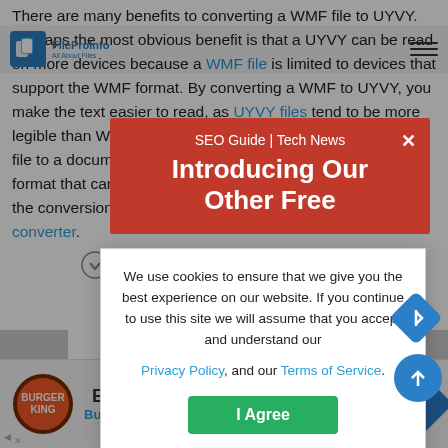FileProInfo | All About Files
There are many benefits to converting a WMF file to UYVY. Perhaps the most obvious benefit is that a UYVY can be read on more devices because a WMF file is limited to devices that support the WMF format. By converting a WMF to UYVY, you make the text easier to read, as UYVY files tend to be more legible than WMF files. Additionally, you can convert a WMF file to a document, which means you can save it in the UYVY format that can be shared. To convert a WMF file to UYVY, the conversion can be done online for free using a UYVY converter.
[Figure (screenshot): Red promotional banner overlay with text 'SEO Guide | Tech News' and 'Introducing Our Other Free' with close X button]
[Figure (screenshot): Cookie consent modal with text about cookies, Privacy Policy and Terms of Service links, and 'I Agree' button]
[Figure (screenshot): Burger King advertisement banner at bottom of page with 'Ea...' text and blue navigation arrows/buttons]